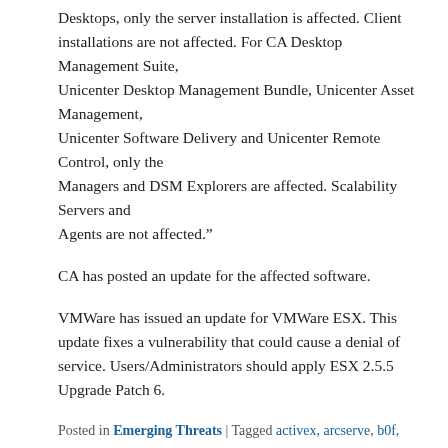Desktops, only the server installation is affected. Client installations are not affected. For CA Desktop Management Suite, Unicenter Desktop Management Bundle, Unicenter Asset Management, Unicenter Software Delivery and Unicenter Remote Control, only the Managers and DSM Explorers are affected. Scalability Servers and Agents are not affected."
CA has posted an update for the affected software.
VMWare has issued an update for VMWare ESX. This update fixes a vulnerability that could cause a denial of service. Users/Administrators should apply ESX 2.5.5 Upgrade Patch 6.
Posted in Emerging Threats | Tagged activex, arcserve, b0f, ca, dos, esx, vmware | Leave a reply